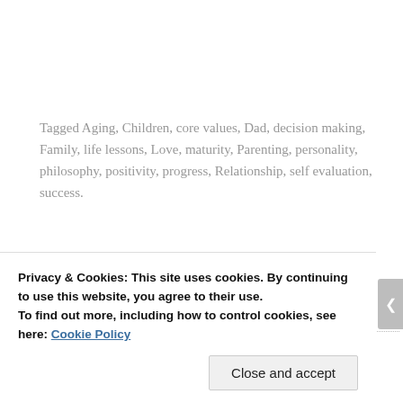Tagged Aging, Children, core values, Dad, decision making, Family, life lessons, Love, maturity, Parenting, personality, philosophy, positivity, progress, Relationship, self evaluation, success.
4 Comments
September 25, 2018
Privacy & Cookies: This site uses cookies. By continuing to use this website, you agree to their use.
To find out more, including how to control cookies, see here: Cookie Policy